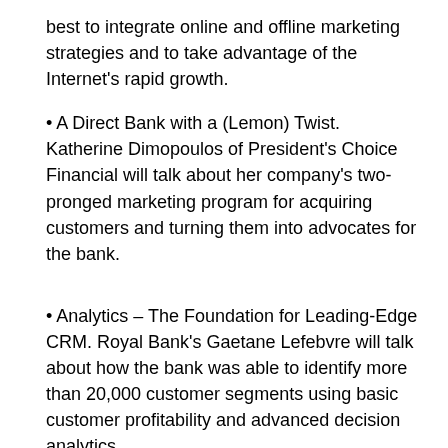best to integrate online and offline marketing strategies and to take advantage of the Internet's rapid growth.
• A Direct Bank with a (Lemon) Twist. Katherine Dimopoulos of President's Choice Financial will talk about her company's two-pronged marketing program for acquiring customers and turning them into advocates for the bank.
• Analytics – The Foundation for Leading-Edge CRM. Royal Bank's Gaetane Lefebvre will talk about how the bank was able to identify more than 20,000 customer segments using basic customer profitability and advanced decision analytics.